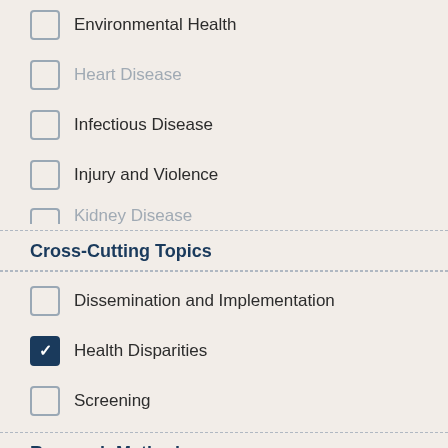Environmental Health
Heart Disease
Infectious Disease
Injury and Violence
Kidney Disease
Cross-Cutting Topics
Dissemination and Implementation
Health Disparities
Screening
Research Methods
Big Data Science
Informatics